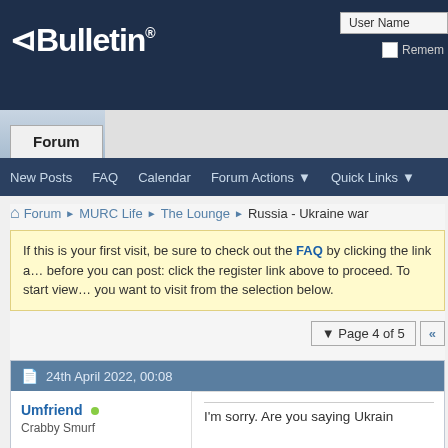vBulletin forum header with logo and User Name field
Forum | New Posts | FAQ | Calendar | Forum Actions | Quick Links
Forum > MURC Life > The Lounge > Russia - Ukraine war
If this is your first visit, be sure to check out the FAQ by clicking the link above to proceed. To start viewing you want to visit from the selection below.
Page 4 of 5
Thread: Russia - Ukraine war
24th April 2022, 00:08
Umfriend
Crabby Smurf
I'm sorry. Are you saying Ukrain